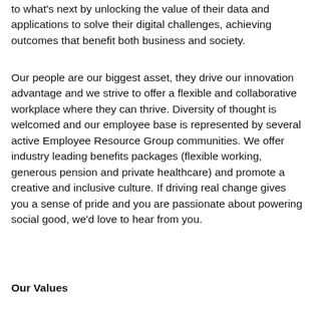to what's next by unlocking the value of their data and applications to solve their digital challenges, achieving outcomes that benefit both business and society.
Our people are our biggest asset, they drive our innovation advantage and we strive to offer a flexible and collaborative workplace where they can thrive. Diversity of thought is welcomed and our employee base is represented by several active Employee Resource Group communities. We offer industry leading benefits packages (flexible working, generous pension and private healthcare) and promote a creative and inclusive culture. If driving real change gives you a sense of pride and you are passionate about powering social good, we'd love to hear from you.
Our Values